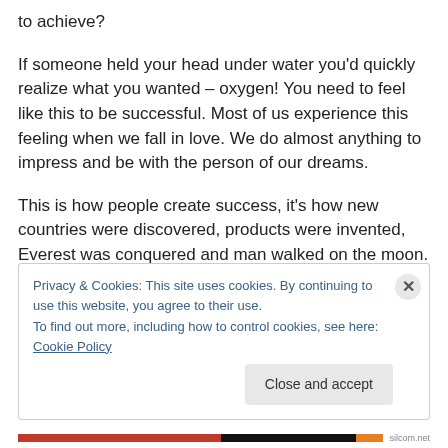to achieve?
If someone held your head under water you'd quickly realize what you wanted – oxygen! You need to feel like this to be successful. Most of us experience this feeling when we fall in love. We do almost anything to impress and be with the person of our dreams.
This is how people create success, it's how new countries were discovered, products were invented, Everest was conquered and man walked on the moon.
Privacy & Cookies: This site uses cookies. By continuing to use this website, you agree to their use.
To find out more, including how to control cookies, see here: Cookie Policy
[Close and accept]